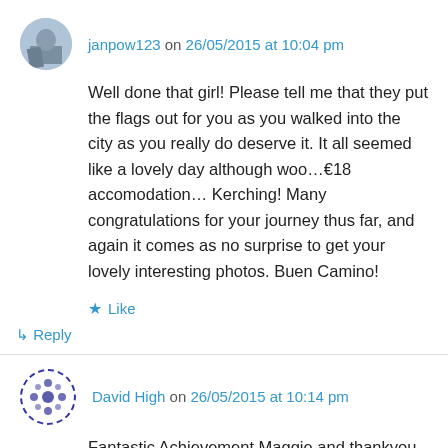janpow123 on 26/05/2015 at 10:04 pm
Well done that girl! Please tell me that they put the flags out for you as you walked into the city as you really do deserve it. It all seemed like a lovely day although woo…€18 accomodation… Kerching! Many congratulations for your journey thus far, and again it comes as no surprise to get your lovely interesting photos. Buen Camino!
★ Like
↳ Reply
David High on 26/05/2015 at 10:14 pm
Fantastic Achievement Maggie,and thankyou for